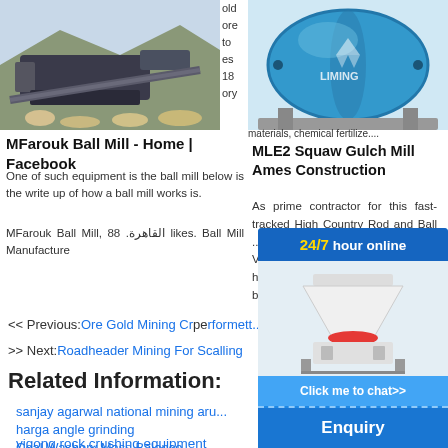[Figure (photo): Mining crusher machine outdoors with rocks and gravel]
[Figure (photo): Blue ball mill machine - Liming brand]
MFarouk Ball Mill - Home | Facebook
One of such equipment is the ball mill below is the write up of how a ball mill works is.
MFarouk Ball Mill, القاهرة. 88 likes. Ball Mill Manufacture
MLE2 Squaw Gulch Mill Ames Construction
As prime contractor for this fast-tracked High Country Rod and Ball ... performed ... construction ... the VLF2 ... 10,000-foo... mountaino... harsh wint... scope excavation... building e...
<< Previous: Ore Gold Mining Cr...
>> Next: Roadheader Mining For Scalling...
Related Information:
sanjay agarwal national mining aru...
harga angle grinding
Coal Washery Mass Balance
yigong rock crushing equipment
[Figure (screenshot): 24/7 hour online chat widget with cone crusher image, Click me to chat button, Enquiry section, and limingjlmofen footer]